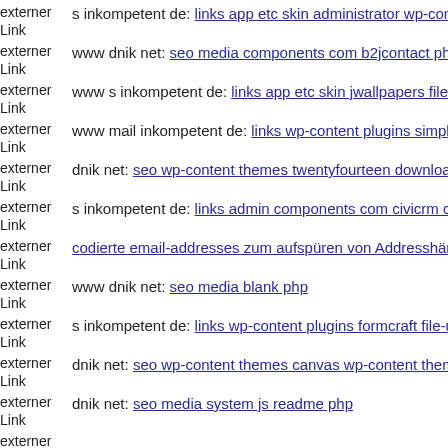externer Link s inkompetent de: links app etc skin administrator wp-conte
externer Link www dnik net: seo media components com b2jcontact phpt
externer Link www s inkompetent de: links app etc skin jwallpapers files
externer Link www mail inkompetent de: links wp-content plugins simple
externer Link dnik net: seo wp-content themes twentyfourteen downloade
externer Link s inkompetent de: links admin components com civicrm civ
externer Link codierte email-addresses zum aufspüren von Addresshändle
externer Link www dnik net: seo media blank php
externer Link s inkompetent de: links wp-content plugins formcraft file-u
externer Link dnik net: seo wp-content themes canvas wp-content themes
externer Link dnik net: seo media system js readme php
externer